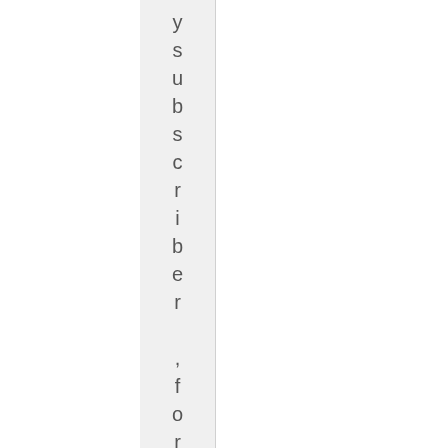y s u b s c r i b e r , f o r t h e s a m